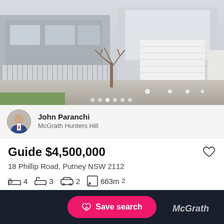[Figure (photo): Exterior photo of a modern two-storey house with white garage door, vertical slat fence, and a bare tree in foreground]
John Paranchi
McGrath Hunters Hill
Guide $4,500,000
18 Phillip Road, Putney NSW 2112
4  3  2  663m²
House for Sale • 18 days on Homely
Save search